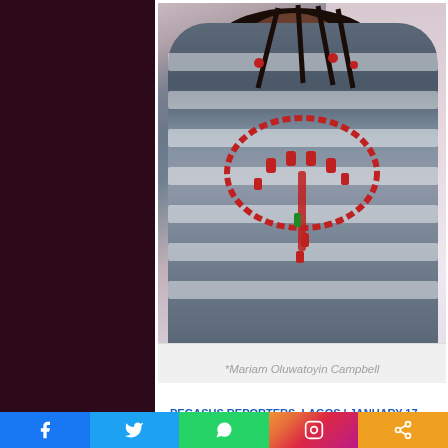[Figure (photo): Portrait photo of Mariam Oluwatoyin Campbell, a woman wearing a blue and white striped top with a red beaded necklace and braided hair with red accessories, posed against a light background.]
*Mariam Oluwatoyin Campbell
PEGASUS REPORTERS, LAGOS | JANUARY 17, 2022